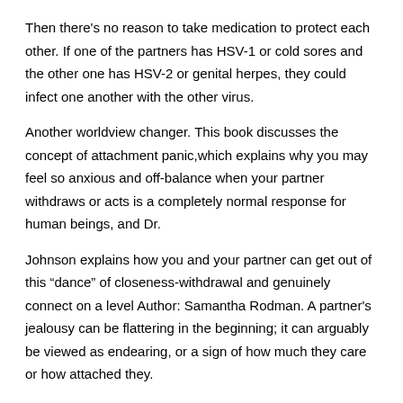Then there's no reason to take medication to protect each other. If one of the partners has HSV-1 or cold sores and the other one has HSV-2 or genital herpes, they could infect one another with the other virus.
Another worldview changer. This book discusses the concept of attachment panic,which explains why you may feel so anxious and off-balance when your partner withdraws or acts is a completely normal response for human beings, and Dr.
Johnson explains how you and your partner can get out of this “dance” of closeness-withdrawal and genuinely connect on a level Author: Samantha Rodman. A partner's jealousy can be flattering in the beginning; it can arguably be viewed as endearing, or a sign of how much they care or how attached they.
Near the end of Kem Nunn's crafty new novel, the title character, a year-old San Francisco psychiatrist named Eldon Chance, confesses to feeling a persistent sense of “vertigo, attributable.
Karen Chance grew up in Orlando, Florida, the home of make-believe,